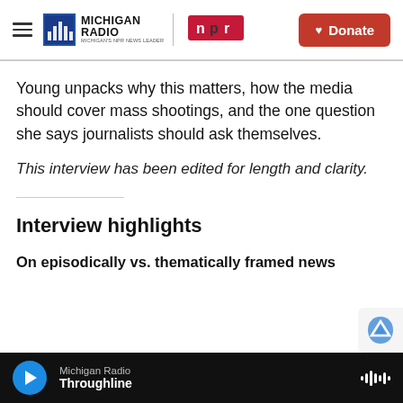Michigan Radio | NPR | Donate
Young unpacks why this matters, how the media should cover mass shootings, and the one question she says journalists should ask themselves.
This interview has been edited for length and clarity.
Interview highlights
On episodically vs. thematically framed news
Michigan Radio | Throughline